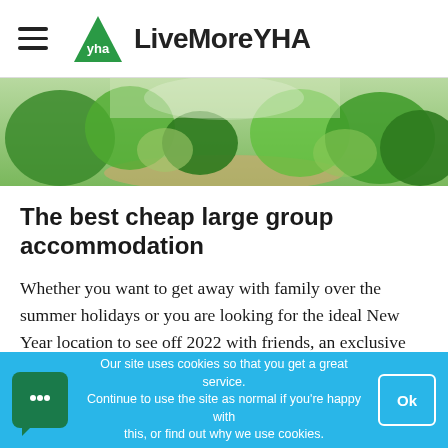LiveMoreYHA
[Figure (photo): Green foliage and nature scene, hero banner image]
The best cheap large group accommodation
Whether you want to get away with family over the summer holidays or you are looking for the ideal New Year location to see off 2022 with friends, an exclusive stay in a YHA hostel is an extremely cost-effective way to accommodate large groups. So what makes
Our site uses cookies so that you get a great service. Continue to use the site as normal if you're happy with this, or find out why we use cookies.